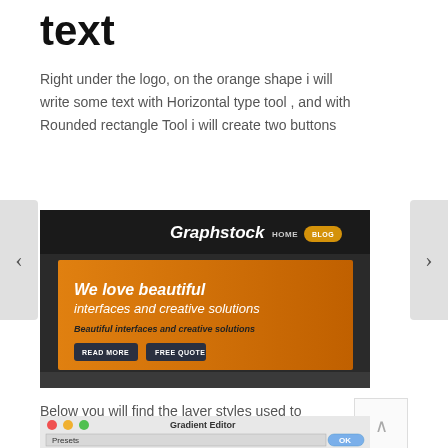text
Right under the logo, on the orange shape i will write some text with Horizontal type tool , and with Rounded rectangle Tool i will create two buttons
[Figure (screenshot): Screenshot of a Graphstock website design in Photoshop, showing a dark header with 'Graphstock' logo, HOME and BLOG nav buttons, and an orange hero section with text 'We love beautiful interfaces and creative solutions' and two dark buttons 'READ MORE' and 'FREE QUOTE']
Below you will find the layer styles used to create the button
[Figure (screenshot): Partial screenshot of a Gradient Editor dialog in Photoshop showing Presets section with gradient swatches and OK button]